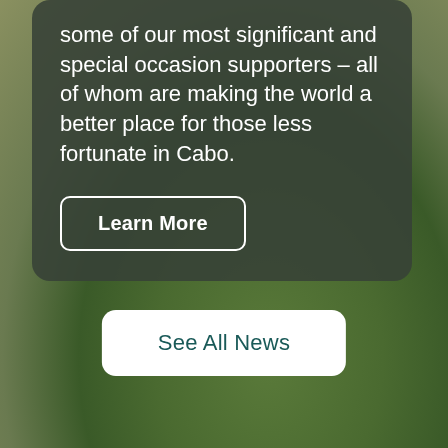some of our most significant and special occasion supporters – all of whom are making the world a better place for those less fortunate in Cabo.
Learn More
See All News